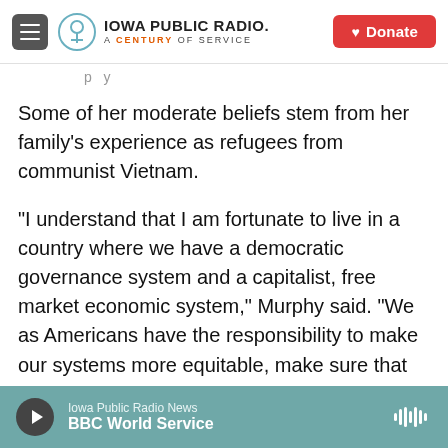Iowa Public Radio. A Century of Service | Donate
Some of her moderate beliefs stem from her family's experience as refugees from communist Vietnam.
"I understand that I am fortunate to live in a country where we have a democratic governance system and a capitalist, free market economic system," Murphy said. "We as Americans have the responsibility to make our systems more equitable, make sure that everybody has opportunities to vote and opportunities to get ahead in our economy."
Iowa Public Radio News
BBC World Service